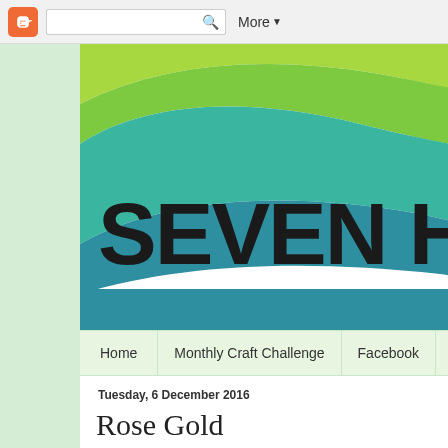[Figure (screenshot): Blogger top navigation bar with orange Blogger icon, search box with magnifying glass, and 'More' dropdown button]
[Figure (logo): Seven Hills blog banner with green wave design and bold text 'SEVEN HILL' (partially cropped)]
Home | Monthly Craft Challenge | Facebook | The Sk...
Tuesday, 6 December 2016
Rose Gold